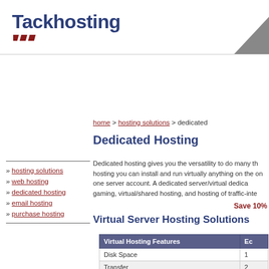[Figure (logo): Tackhosting logo with dark blue bold text and red diagonal slash marks beneath]
[Figure (illustration): Gray triangle/arrow shape in upper right corner]
home > hosting solutions > dedicated
Dedicated Hosting
» hosting solutions
» web hosting
» dedicated hosting
» email hosting
» purchase hosting
Dedicated hosting gives you the versatility to do many th... hosting you can install and run virtually anything on the ... on one server account. A dedicated server/virtual dedica... gaming, virtual/shared hosting, and hosting of traffic-inte...
Save 10%
Virtual Server Hosting Solutions
| Virtual Hosting Features | Ec... |
| --- | --- |
| Disk Space | 1... |
| Transfer | 2... |